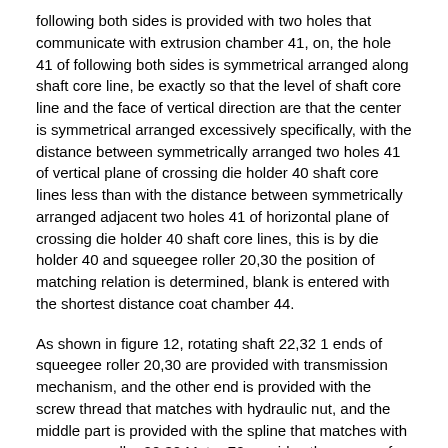following both sides is provided with two holes that communicate with extrusion chamber 41, on, the hole 41 of following both sides is symmetrical arranged along shaft core line, be exactly so that the level of shaft core line and the face of vertical direction are that the center is symmetrical arranged excessively specifically, with the distance between symmetrically arranged two holes 41 of vertical plane of crossing die holder 40 shaft core lines less than with the distance between symmetrically arranged adjacent two holes 41 of horizontal plane of crossing die holder 40 shaft core lines, this is by die holder 40 and squeegee roller 20,30 the position of matching relation is determined, blank is entered with the shortest distance coat chamber 44.
As shown in figure 12, rotating shaft 22,32 1 ends of squeegee roller 20,30 are provided with transmission mechanism, and the other end is provided with the screw thread that matches with hydraulic nut, and the middle part is provided with the spline that matches with squeegee roller 20,30.Motor 70 provides the power of rotating shaft 22,32 rotations of ordering about squeegee roller, described transmission mechanism is gear drive, be